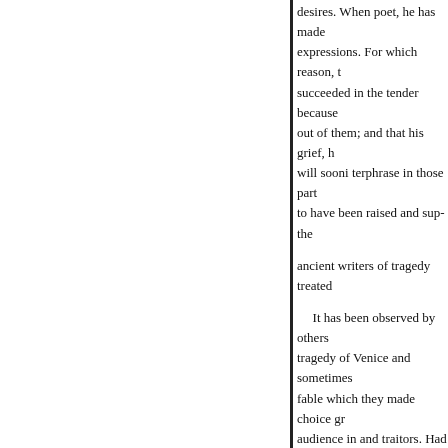desires. When poet, he has made expressions. For which reason, t succeeded in the tender because out of them; and that his grief, h will sooni terphrase in those part to have been raised and sup- the
ancient writers of tragedy treated
It has been observed by others tragedy of Venice and sometimes fable which they made choice gr audience in and traitors. Had the same good qualities in the siders either of these kinds, and observ unhappily had always not enoug now represented, we can only sa says of Cataline, from those that commiseration leave a pleasing a audience in in the service of his
much mor
Accordingly we find, that mo